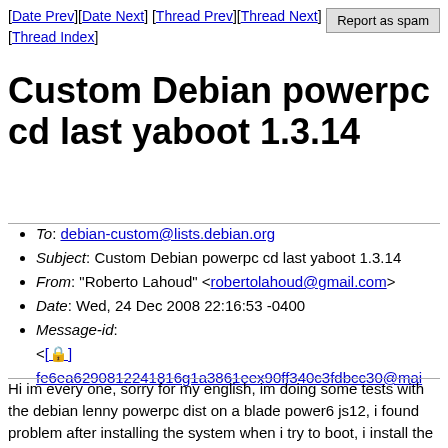[Date Prev][Date Next] [Thread Prev][Thread Next] [Date Index] [Thread Index]
Custom Debian powerpc cd last yaboot 1.3.14
To: debian-custom@lists.debian.org
Subject: Custom Debian powerpc cd last yaboot 1.3.14
From: "Roberto Lahoud" <robertolahoud@gmail.com>
Date: Wed, 24 Dec 2008 22:16:53 -0400
Message-id: <[🔒] fe6ea6290812241816g1a3861eex90ff340c3fdbcc30@mai
Hi im every one, sorry for my english, im doing some tests with the debian lenny powerpc dist on a blade power6 js12, i found problem after installing the system when i try to boot, i install the last firmware and the problem was solve compiling and installing the last yaboot version 1.3.14 with some other packages in a rescue mode, having to do some work, i would like to make a custom booteable installation cd with this last yaboot version and the other